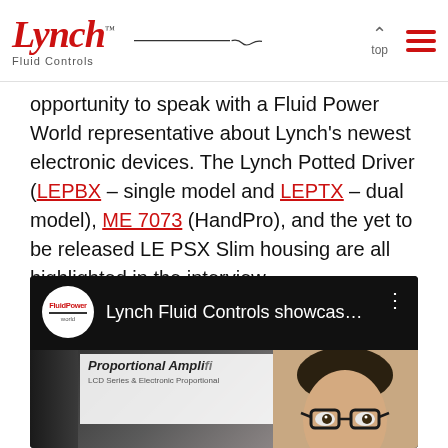Lynch Fluid Controls — top navigation
opportunity to speak with a Fluid Power World representative about Lynch's newest electronic devices. The Lynch Potted Driver (LEPBX – single model and LEPTX – dual model), ME 7073 (HandPro), and the yet to be released LE PSX Slim housing are all highlighted in the interview.
[Figure (screenshot): YouTube video embed showing Lynch Fluid Controls showcase video. The video header shows the FluidPowerWorld logo (circular, red and white) with the title 'Lynch Fluid Controls showcase...' on a black background. The video thumbnail shows a blurred scene with a 'Proportional Ampli...' banner/sign, electronic hardware/devices on a table, and a man with glasses on the right side.]